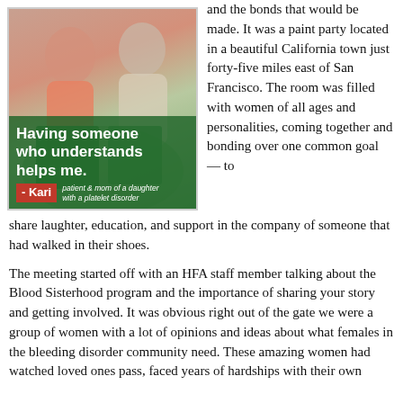[Figure (photo): Two women holding a painting at a paint party, with an overlaid quote: 'Having someone who understands helps me.' attributed to Kari, patient & mom of a daughter with a platelet disorder]
and the bonds that would be made. It was a paint party located in a beautiful California town just forty-five miles east of San Francisco. The room was filled with women of all ages and personalities, coming together and bonding over one common goal — to share laughter, education, and support in the company of someone that had walked in their shoes.
The meeting started off with an HFA staff member talking about the Blood Sisterhood program and the importance of sharing your story and getting involved. It was obvious right out of the gate we were a group of women with a lot of opinions and ideas about what females in the bleeding disorder community need. These amazing women had watched loved ones pass, faced years of hardships with their own